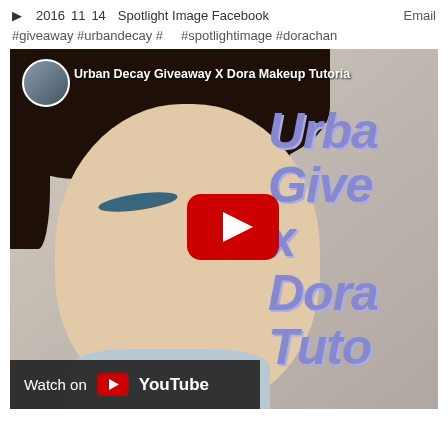▶  2016  11  14  Spotlight Image Facebook  Email
#giveaway #urbandecay #  #spotlightimage #dorachan
[Figure (screenshot): YouTube video thumbnail showing a woman with teal eye makeup. Video title: 'Urban Decay Giveaway X Dora Makeup Tutorial'. Large text on right side of thumbnail reads 'Urba Give x Dora Tuto'. YouTube play button (red) in center. 'Watch on YouTube' bar at bottom left. Small channel icon circle top left.]